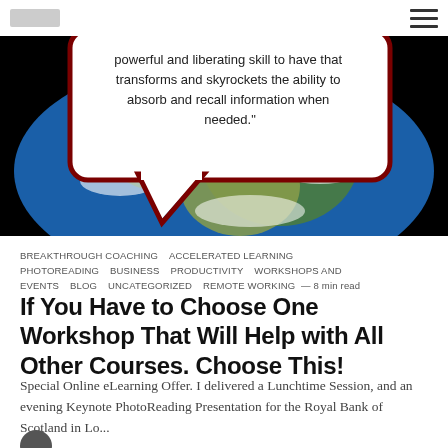[logo] [hamburger menu]
[Figure (photo): Photo of Earth from space with a speech bubble overlay containing the text: 'powerful and liberating skill to have that transforms and skyrockets the ability to absorb and recall information when needed.']
BREAKTHROUGH COACHING  ACCELERATED LEARNING  PHOTOREADING  BUSINESS  PRODUCTIVITY  WORKSHOPS AND EVENTS  BLOG  UNCATEGORIZED  REMOTE WORKING  —  8 min read
If You Have to Choose One Workshop That Will Help with All Other Courses. Choose This!
Special Online eLearning Offer. I delivered a Lunchtime Session, and an evening Keynote PhotoReading Presentation for the Royal Bank of Scotland in Lo...